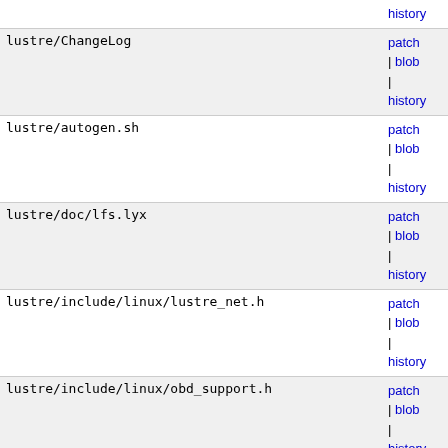| filename | status | actions |
| --- | --- | --- |
|  |  | history |
| lustre/ChangeLog |  | patch | blob | history |
| lustre/autogen.sh |  | patch | blob | history |
| lustre/doc/lfs.lyx |  | patch | blob | history |
| lustre/include/linux/lustre_net.h |  | patch | blob | history |
| lustre/include/linux/obd_support.h |  | patch | blob | history |
| lustre/kernel_patches/patches/2.6.0-test6-mm4.patch |  | patch | blob | history |
| lustre/kernel_patches/patches/bproc-patch-2.4.20 |  | patch | blob | history |
| lustre/kernel_patches/patches/configurable-x86-stack-2.4.19-pre1.patch | [new file with mode: 0644] | patch | blob |
| lustre/kernel_patches/patches/configurable-x86-stack-2.4.20-rh.patch | [new file | patch | blob |